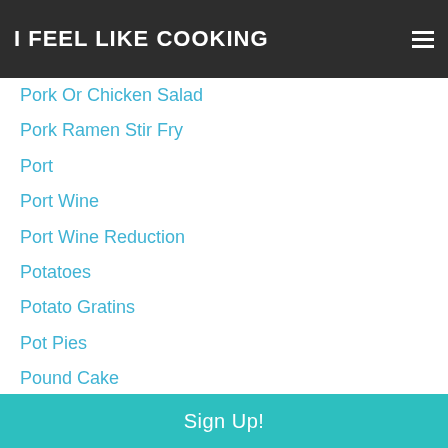I FEEL LIKE COOKING
Pork Or Chicken Salad
Pork Ramen Stir Fry
Port
Port Wine
Port Wine Reduction
Potatoes
Potato Gratins
Pot Pies
Pound Cake
Preserves
Prosciutto
Proscuitto
Puff Pastry
Puff Pastry Tartlets
Pumpkin Buttermilk Cake (partial)
Sign Up!